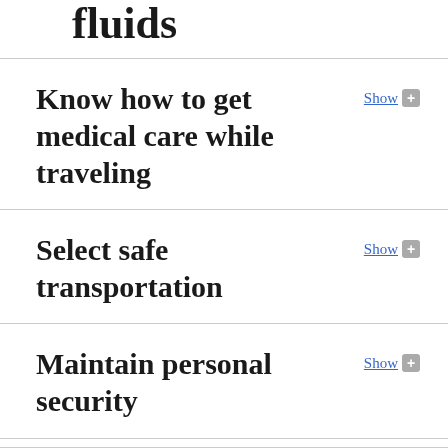fluids
Know how to get medical care while traveling
Select safe transportation
Maintain personal security